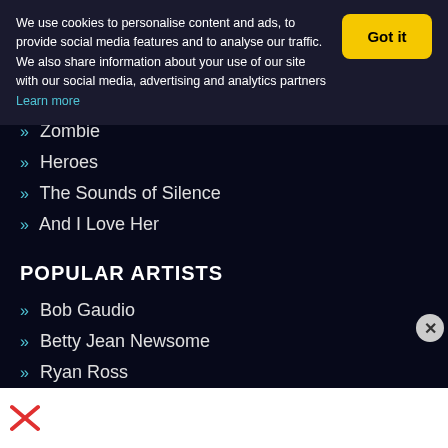We use cookies to personalise content and ads, to provide social media features and to analyse our traffic. We also share information about your use of our site with our social media, advertising and analytics partners Learn more
Zombie
Heroes
The Sounds of Silence
And I Love Her
POPULAR ARTISTS
Bob Gaudio
Betty Jean Newsome
Ryan Ross
Nikki Sixx
The-Dream
Linda Thompson [US]
Earl Bud Lee